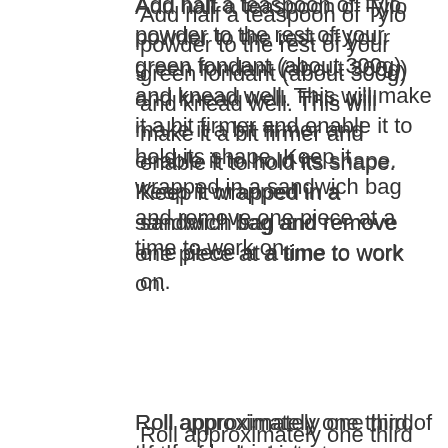Add half a teaspoon of Tylo powder to the rest of your green fondant (about 300g) and knead well. This will make it a bit firmer and enable it to hold its shape. Keep it wrapped in a sandwich bag and remove one piece at a time to work on.
Roll approximately one third of the fondant into two sausage shapes and cut each in half to create four legs.
Taking one piece at a time, roll each into a sausage shape that is thicker at one end. Hold in the palm of your hand and roll back and forth using two fingers to create Arlo's knobbly knees in the middle. Bend into the position you want and attach to the body and board